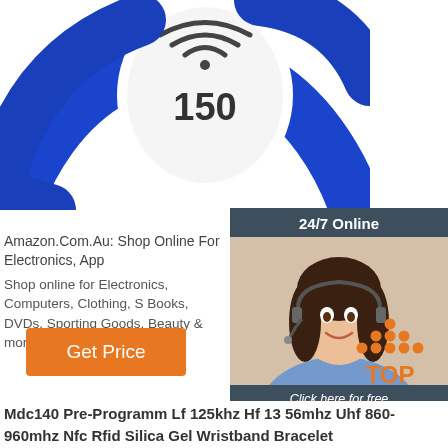[Figure (photo): Blue RFID silicone wristband bracelet with white oval showing wireless symbol and '150' text, partially cropped at top]
Amazon.Com.Au: Shop Online For Electronics, App
Shop online for Electronics, Computers, Clothing, S Books, DVDs, Sporting Goods, Beauty & more.
[Figure (other): 24/7 Online chat widget with customer service agent photo, 'Click here for free chat!' text and orange QUOTATION button]
[Figure (other): Orange Get Price button]
[Figure (other): TOP badge with orange dots arranged in triangle and 'TOP' text in orange]
Mdc140 Pre-Programm Lf 125khz Hf 13 56mhz Uhf 860-960mhz Nfc Rfid Silica Gel Wristband Bracelet